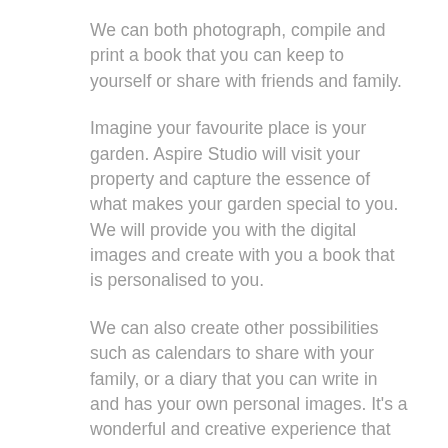We can both photograph, compile and print a book that you can keep to yourself or share with friends and family.
Imagine your favourite place is your garden. Aspire Studio will visit your property and capture the essence of what makes your garden special to you. We will provide you with the digital images and create with you a book that is personalised to you.
We can also create other possibilities such as calendars to share with your family, or a diary that you can write in and has your own personal images. It's a wonderful and creative experience that you will be proud to share.
If you already have your own